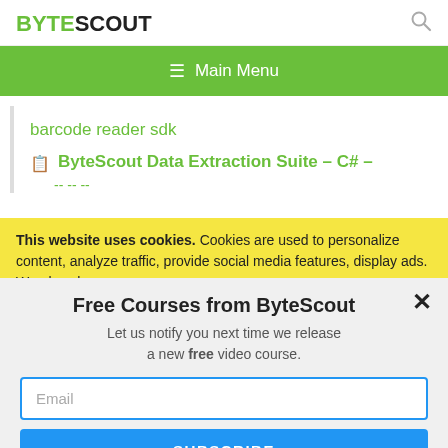BYTESCOUT
≡  Main Menu
barcode reader sdk
ByteScout Data Extraction Suite – C# –
This website uses cookies. Cookies are used to personalize content, analyze traffic, provide social media features, display ads. We also share
Free Courses from ByteScout
Let us notify you next time we release a new free video course.
Email
SUBSCRIBE